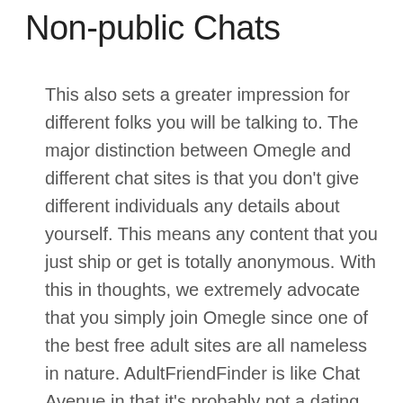Non-public Chats
This also sets a greater impression for different folks you will be talking to. The major distinction between Omegle and different chat sites is that you don't give different individuals any details about yourself. This means any content that you just ship or get is totally anonymous. With this in thoughts, we extremely advocate that you simply join Omegle since one of the best free adult sites are all nameless in nature. AdultFriendFinder is like Chat Avenue in that it's probably not a dating site, it's extra of a hook-up place. AdultFriendFinder is well-liked so there are a great deal of folks